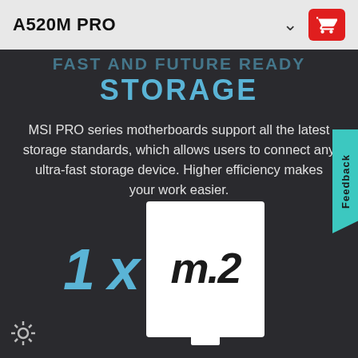A520M PRO
FAST AND FUTURE READY STORAGE
MSI PRO series motherboards support all the latest storage standards, which allows users to connect any ultra-fast storage device. Higher efficiency makes your work easier.
[Figure (illustration): 1x M.2 slot icon — large blue '1x' text next to a white box with 'm.2' in italic bold, representing one M.2 storage slot]